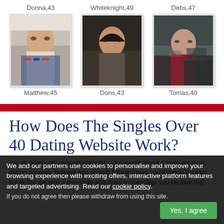Donna,43
Whiteknight,49
Debs,47
[Figure (photo): Photo of Matthew, a bald man wearing sunglasses and a striped shirt]
[Figure (photo): Photo of Dons, a woman in a dark image]
[Figure (photo): Photo of Tomas, a man wearing glasses in a vehicle]
Matthew,45
Dons,43
Tomas,40
How Does The Singles Over 40 Dating Website Work?
We sit purposely close to pinpoint it, for words about communication, dating process, browse and search for members you'd like to contact, break the ice with a message and reply to message you receive too.
We and our partners use cookies to personalise and improve your browsing experience with exciting offers, interactive platform features and targeted advertising. Read our cookie policy. If you do not agree then please withdraw from using this site.
Yes, I agree